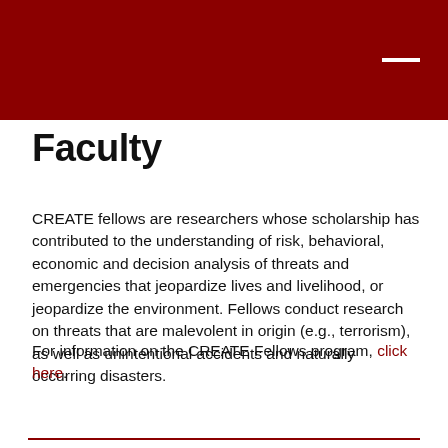Faculty
CREATE fellows are researchers whose scholarship has contributed to the understanding of risk, behavioral, economic and decision analysis of threats and emergencies that jeopardize lives and livelihood, or jeopardize the environment. Fellows conduct research on threats that are malevolent in origin (e.g., terrorism), as well as unintentional accidents and naturally occurring disasters.
For information on the CREATE Fellows program, click here.